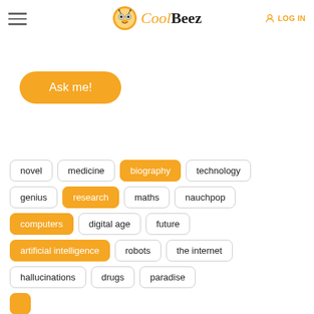CoolBeez — LOG IN
Ask me!
novel
medicine
biography
technology
genius
research
maths
nauchpop
computers
digital age
future
artificial intelligence
robots
the internet
hallucinations
drugs
paradise